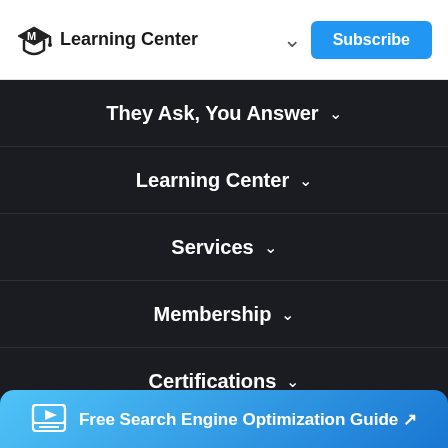Learning Center
They Ask, You Answer
Learning Center
Services
Membership
Certifications
Free Search Engine Optimization Guide ↗